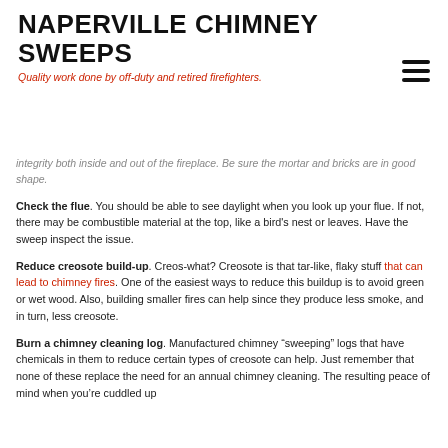NAPERVILLE CHIMNEY SWEEPS
Quality work done by off-duty and retired firefighters.
integrity both inside and out of the fireplace. Be sure the mortar and bricks are in good shape.
Check the flue. You should be able to see daylight when you look up your flue. If not, there may be combustible material at the top, like a bird's nest or leaves. Have the sweep inspect the issue.
Reduce creosote build-up. Creos-what? Creosote is that tar-like, flaky stuff that can lead to chimney fires. One of the easiest ways to reduce this buildup is to avoid green or wet wood. Also, building smaller fires can help since they produce less smoke, and in turn, less creosote.
Burn a chimney cleaning log. Manufactured chimney “sweeping” logs that have chemicals in them to reduce certain types of creosote can help. Just remember that none of these replace the need for an annual chimney cleaning. The resulting peace of mind when you’re cuddled up